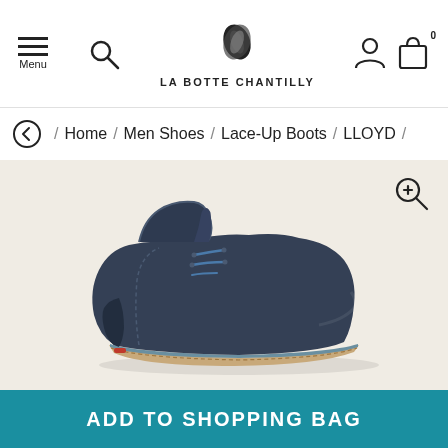Menu | LA BOTTE CHANTILLY
Home / Men Shoes / Lace-Up Boots / LLOYD /
[Figure (photo): Navy blue suede chukka lace-up boot (LLOYD brand) displayed on a light beige background, viewed from the side, showing blue laces and a light tan/grey sole.]
ADD TO SHOPPING BAG